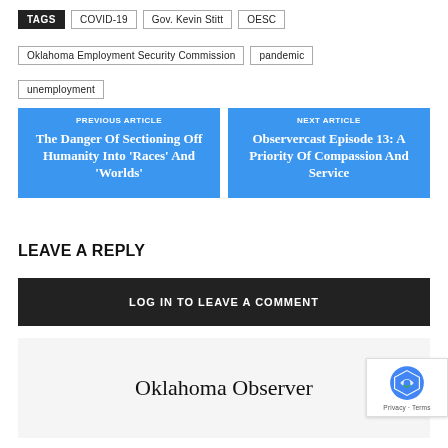TAGS | COVID-19 | Gov. Kevin Stitt | OESC
Oklahoma Employment Security Commission | pandemic
unemployment
PREVIOUS ARTICLE
The Danger Of Sectioning Off Humanity Into 'Races' And 'Worlds'
NEXT ARTICLE
Observercast Episode 13: A Priority Of Compassion And Service
LEAVE A REPLY
LOG IN TO LEAVE A COMMENT
Oklahoma Observer